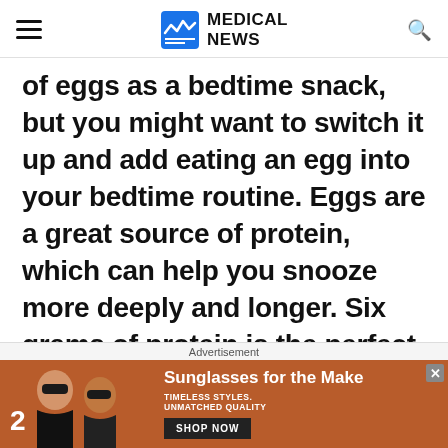MEDICAL NEWS
of eggs as a bedtime snack, but you might want to switch it up and add eating an egg into your bedtime routine. Eggs are a great source of protein, which can help you snooze more deeply and longer. Six grams of protein is the perfect amount to keep your blood sugar balanced throughout the night, and that's actually how many grams are also in one
Advertisement
[Figure (photo): Advertisement banner showing two women wearing sunglasses with text 'Sunglasses for the Make' and 'TIMELESS STYLES. UNMATCHED QUALITY' with a SHOP NOW button]